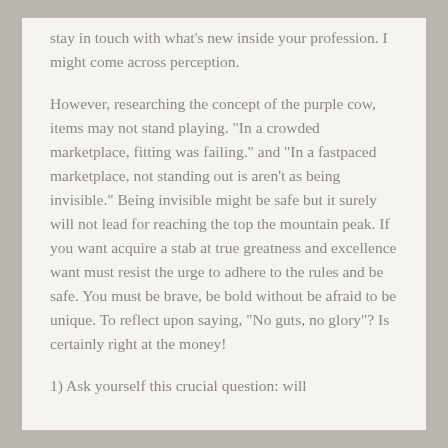stay in touch with what's new inside your profession. I might come across perception.
However, researching the concept of the purple cow, items may not stand playing. "In a crowded marketplace, fitting was failing." and "In a fastpaced marketplace, not standing out is aren't as being invisible." Being invisible might be safe but it surely will not lead for reaching the top the mountain peak. If you want acquire a stab at true greatness and excellence want must resist the urge to adhere to the rules and be safe. You must be brave, be bold without be afraid to be unique. To reflect upon saying, "No guts, no glory"? Is certainly right at the money!
1) Ask yourself this crucial question: will